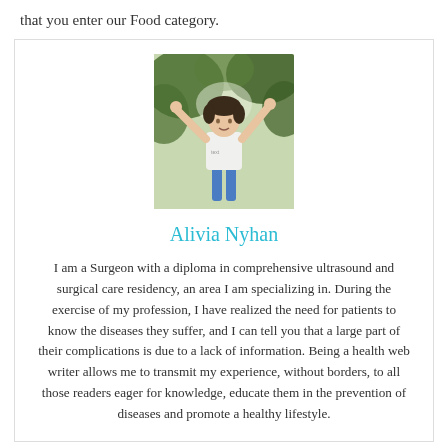that you enter our Food category.
[Figure (photo): Photo of Alivia Nyhan, a young woman with arms raised outdoors among trees, wearing a white top and denim shorts.]
Alivia Nyhan
I am a Surgeon with a diploma in comprehensive ultrasound and surgical care residency, an area I am specializing in. During the exercise of my profession, I have realized the need for patients to know the diseases they suffer, and I can tell you that a large part of their complications is due to a lack of information. Being a health web writer allows me to transmit my experience, without borders, to all those readers eager for knowledge, educate them in the prevention of diseases and promote a healthy lifestyle.